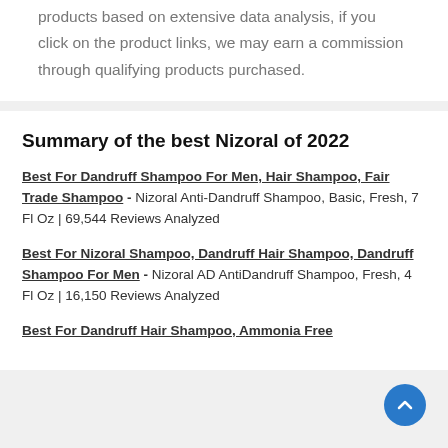products based on extensive data analysis, if you click on the product links, we may earn a commission through qualifying products purchased.
Summary of the best Nizoral of 2022
Best For Dandruff Shampoo For Men, Hair Shampoo, Fair Trade Shampoo - Nizoral Anti-Dandruff Shampoo, Basic, Fresh, 7 Fl Oz | 69,544 Reviews Analyzed
Best For Nizoral Shampoo, Dandruff Hair Shampoo, Dandruff Shampoo For Men - Nizoral AD AntiDandruff Shampoo, Fresh, 4 Fl Oz | 16,150 Reviews Analyzed
Best For Dandruff Hair Shampoo, Ammonia Free